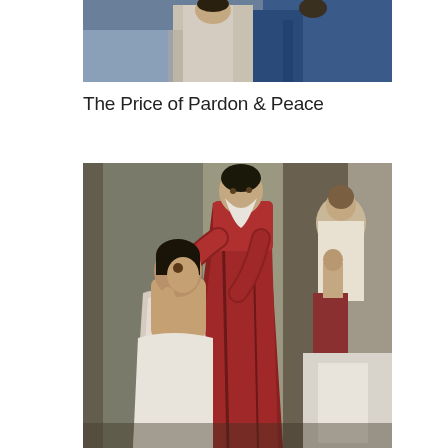[Figure (photo): Top portion of a classical painting showing figures with blue and dark robes, cropped at the top of the page]
The Price of Pardon & Peace
[Figure (photo): Classical painting depicting the Return of the Prodigal Son — an elderly bearded man in a red robe embracing a younger kneeling figure, with additional figures visible in the background on the right side]